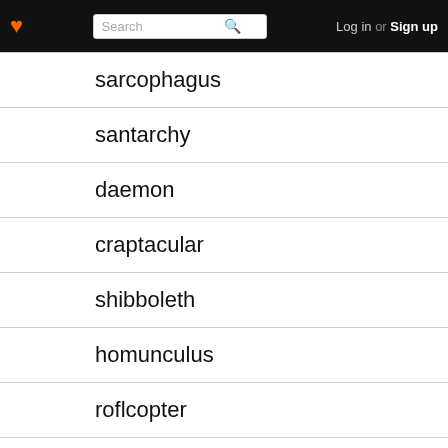♥ Search Log in or Sign up
sarcophagus
santarchy
daemon
craptacular
shibboleth
homunculus
roflcopter
utopia
riparian